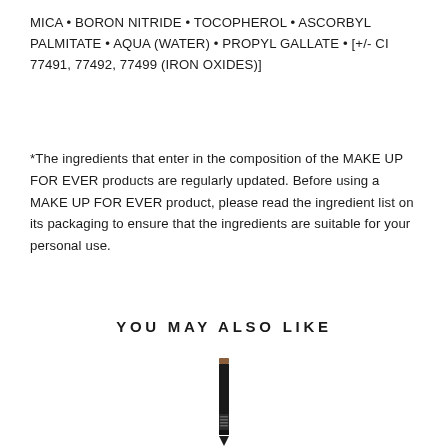MICA • BORON NITRIDE • TOCOPHEROL • ASCORBYL PALMITATE • AQUA (WATER) • PROPYL GALLATE • [+/- CI 77491, 77492, 77499 (IRON OXIDES)]
*The ingredients that enter in the composition of the MAKE UP FOR EVER products are regularly updated. Before using a MAKE UP FOR EVER product, please read the ingredient list on its packaging to ensure that the ingredients are suitable for your personal use.
YOU MAY ALSO LIKE
[Figure (photo): A makeup pencil product (brow pencil) standing upright, showing a brown tip at the top and product label text near the bottom of the pencil body.]